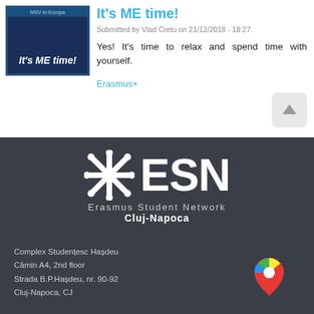[Figure (illustration): Thumbnail image with dark blue background showing 'It's ME time!' text in white italic bold, with a small label 'MSV in Europe' at the top]
It's ME time!
Submitted by Vlad Cretu on 21/12/2018 - 18:27.
Yes! It's time to relax and spend time with yourself.
Erasmus+
[Figure (logo): ESN (Erasmus Student Network) logo with asterisk/snowflake symbol followed by ESN text, with subtitle 'Erasmus Student Network Cluj-Napoca']
Complex Studențesc Hașdeu
Cămin A4, 2nd floor
Strada B.P.Hașdeu, nr. 90-92
Cluj-Napoca, CJ
[Figure (illustration): Google Maps location pin icon in red, blue, green and yellow colors]